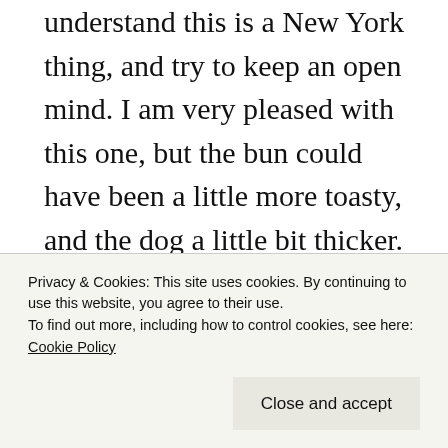understand this is a New York thing, and try to keep an open mind. I am very pleased with this one, but the bun could have been a little more toasty, and the dog a little bit thicker. It has the snap, and it is a good temperature, color, etc., but it seems a little small. When I place my index finger and thumb on either side of the bun, the frank disappears quicker than a frightened turtle. It must be better than this. Gray's is legendary, there must be a better hot dog. So, I order a third weenie.
Privacy & Cookies: This site uses cookies. By continuing to use this website, you agree to their use.
To find out more, including how to control cookies, see here: Cookie Policy
Close and accept